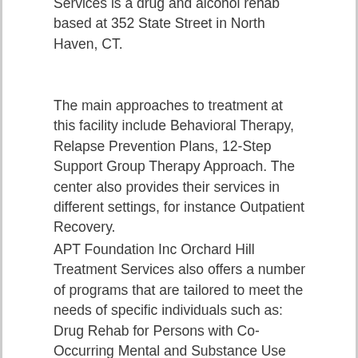Services is a drug and alcohol rehab based at 352 State Street in North Haven, CT.
The main approaches to treatment at this facility include Behavioral Therapy, Relapse Prevention Plans, 12-Step Support Group Therapy Approach. The center also provides their services in different settings, for instance Outpatient Recovery.
APT Foundation Inc Orchard Hill Treatment Services also offers a number of programs that are tailored to meet the needs of specific individuals such as: Drug Rehab for Persons with Co-Occurring Mental and Substance Use Disorders, Drug Rehab for Lesbian, Gay, Bisexual, Or Transgender (LGBT) Clients, Drug and Alcohol Treatment for Adult